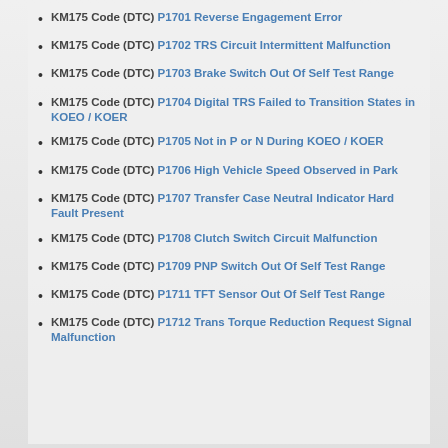KM175 Code (DTC) P1701 Reverse Engagement Error
KM175 Code (DTC) P1702 TRS Circuit Intermittent Malfunction
KM175 Code (DTC) P1703 Brake Switch Out Of Self Test Range
KM175 Code (DTC) P1704 Digital TRS Failed to Transition States in KOEO / KOER
KM175 Code (DTC) P1705 Not in P or N During KOEO / KOER
KM175 Code (DTC) P1706 High Vehicle Speed Observed in Park
KM175 Code (DTC) P1707 Transfer Case Neutral Indicator Hard Fault Present
KM175 Code (DTC) P1708 Clutch Switch Circuit Malfunction
KM175 Code (DTC) P1709 PNP Switch Out Of Self Test Range
KM175 Code (DTC) P1711 TFT Sensor Out Of Self Test Range
KM175 Code (DTC) P1712 Trans Torque Reduction Request Signal Malfunction